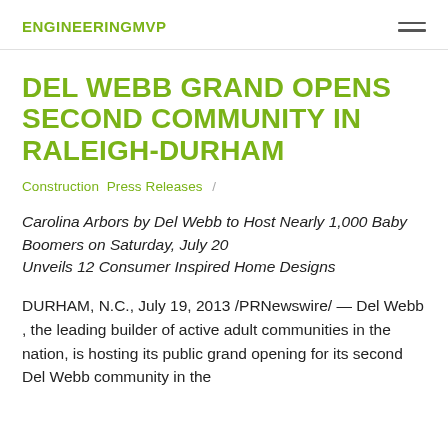ENGINEERINGMVP
DEL WEBB GRAND OPENS SECOND COMMUNITY IN RALEIGH-DURHAM
Construction  Press Releases  /
Carolina Arbors by Del Webb to Host Nearly 1,000 Baby Boomers on Saturday, July 20
Unveils 12 Consumer Inspired Home Designs
DURHAM, N.C., July 19, 2013 /PRNewswire/ — Del Webb , the leading builder of active adult communities in the nation, is hosting its public grand opening for its second Del Webb community in the